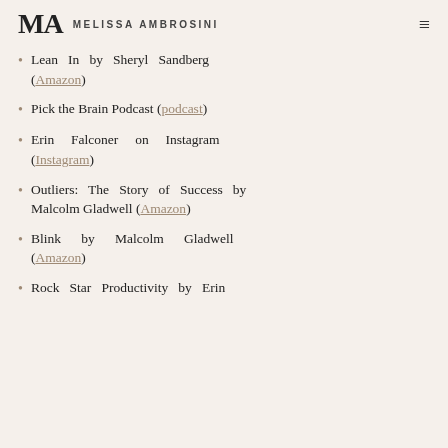MA MELISSA AMBROSINI
Lean In by Sheryl Sandberg (Amazon)
Pick the Brain Podcast (podcast)
Erin Falconer on Instagram (Instagram)
Outliers: The Story of Success by Malcolm Gladwell (Amazon)
Blink by Malcolm Gladwell (Amazon)
Rock Star Productivity by Erin